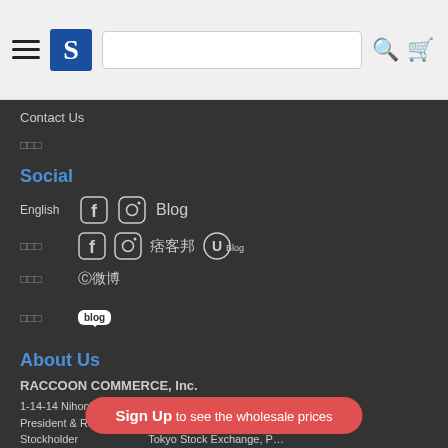Header navigation bar with logo, search, cart
Contact Us
□□□
Social
English  Facebook  Instagram  Blog
□□□  Facebook  Instagram  痞客邦  UBlog
□□□  微博
□□□  blog
About Us
RACCOON COMMERCE, Inc.
1-14-14 Nihonbashi-Kakigaracho Chuo-ku TOKYO 103-0014, JAPAN
President & Representative Director : Takeshi Wakui
Stockholder … Tokyo Stock Exchange, P…
Sign Up to see the wholesale prices